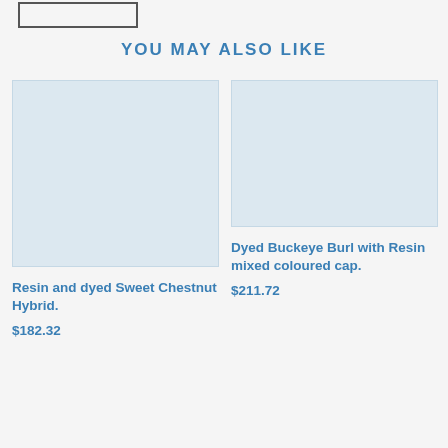YOU MAY ALSO LIKE
[Figure (photo): Light blue/grey placeholder product image for Resin and dyed Sweet Chestnut Hybrid.]
Resin and dyed Sweet Chestnut Hybrid.
$182.32
[Figure (photo): Light blue/grey placeholder product image for Dyed Buckeye Burl with Resin mixed coloured cap.]
Dyed Buckeye Burl with Resin mixed coloured cap.
$211.72